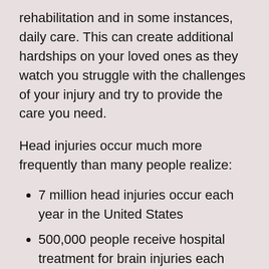rehabilitation and in some instances, daily care. This can create additional hardships on your loved ones as they watch you struggle with the challenges of your injury and try to provide the care you need.
Head injuries occur much more frequently than many people realize:
7 million head injuries occur each year in the United States
500,000 people receive hospital treatment for brain injuries each year
1 out of every 220 people in the United States struggles with issues associated with a brain injury
2/3 of every...